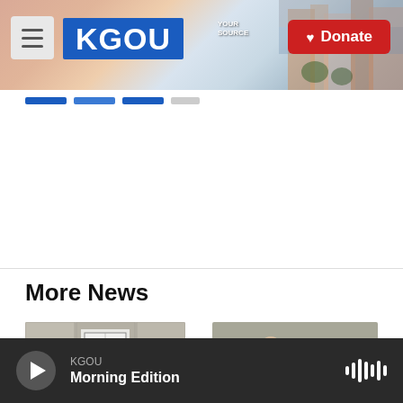[Figure (screenshot): KGOU radio station website header with city skyline background, hamburger menu, KGOU logo in blue, and red Donate button]
[Figure (screenshot): Navigation tabs row with three blue bars and one gray bar]
More News
[Figure (photo): Stone building exterior with door and three masked people standing outside]
[Figure (photo): Child bending down drawing on ground/pavement with chalk, other people in background]
KGOU Morning Edition